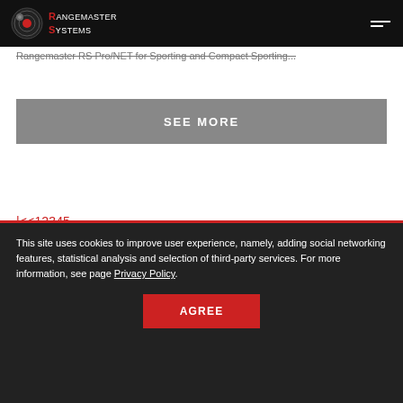Rangemaster Systems
Rangemaster RS Pro/NET for Sporting and Compact Sporting...
SEE MORE
|<<12345
This site uses cookies to improve user experience, namely, adding social networking features, statistical analysis and selection of third-party services. For more information, see page Privacy Policy.
AGREE